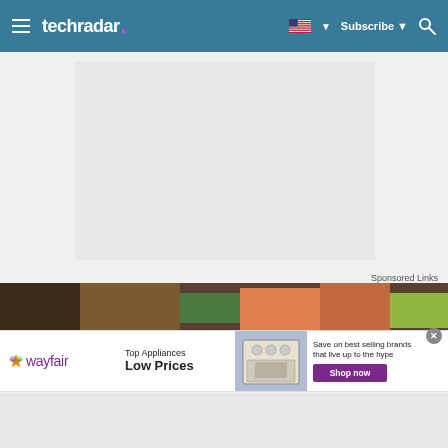techradar
[Figure (photo): Large light gray placeholder image area, likely an article image]
Sponsored Links
[Figure (photo): Store shelf background banner image with produce and appliances]
[Figure (screenshot): Wayfair advertisement: Top Appliances Low Prices. Save on best selling brands that live up to the hype. Shop now button.]